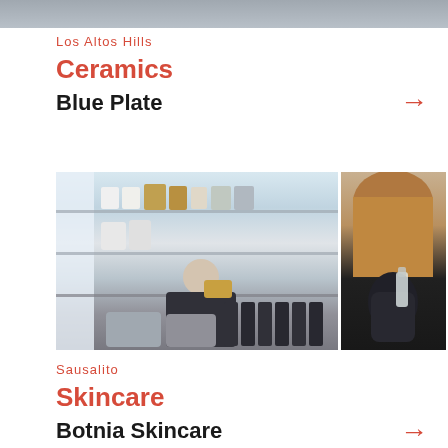[Figure (photo): Partial top image, cropped at top of page]
Los Altos Hills
Ceramics
Blue Plate
[Figure (photo): Two side-by-side photos: left shows a woman in a workshop/store with shelves of bottles and containers, right shows a close-up of hands with black gloves working with liquids]
Sausalito
Skincare
Botnia Skincare